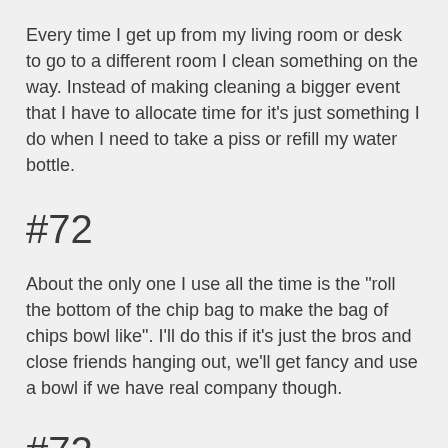Every time I get up from my living room or desk to go to a different room I clean something on the way. Instead of making cleaning a bigger event that I have to allocate time for it's just something I do when I need to take a piss or refill my water bottle.
#72
About the only one I use all the time is the "roll the bottom of the chip bag to make the bag of chips bowl like". I'll do this if it's just the bros and close friends hanging out, we'll get fancy and use a bowl if we have real company though.
#72